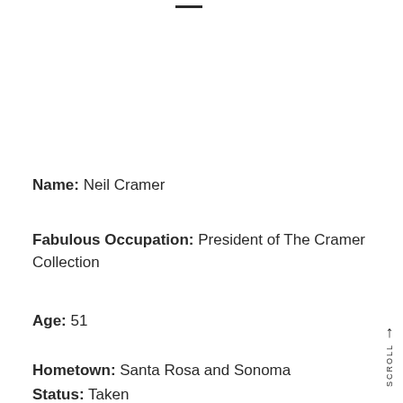Name: Neil Cramer
Fabulous Occupation: President of The Cramer Collection
Age: 51
Hometown: Santa Rosa and Sonoma
Status: Taken